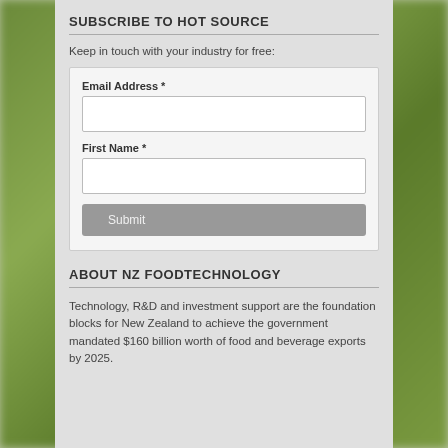SUBSCRIBE TO HOT SOURCE
Keep in touch with your industry for free:
[Figure (other): Subscription form with Email Address and First Name fields and a Submit button]
ABOUT NZ FOODTECHNOLOGY
Technology, R&D and investment support are the foundation blocks for New Zealand to achieve the government mandated $160 billion worth of food and beverage exports by 2025.